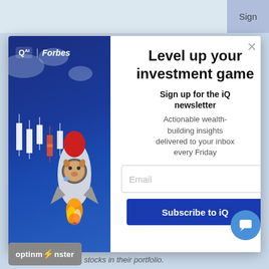Sign
[Figure (screenshot): Modal popup overlay for Q AI Forbes newsletter signup. Left panel shows blue background with Q AI Forbes logo, candlestick chart graphic, and rocket with doge dog illustration. Right panel has title, description, email input and subscribe button.]
Level up your investment game
Sign up for the iQ newsletter
Actionable wealth-building insights delivered to your inbox every Friday
Email
Subscribe to iQ
optinmonster
stocks in their portfolio.